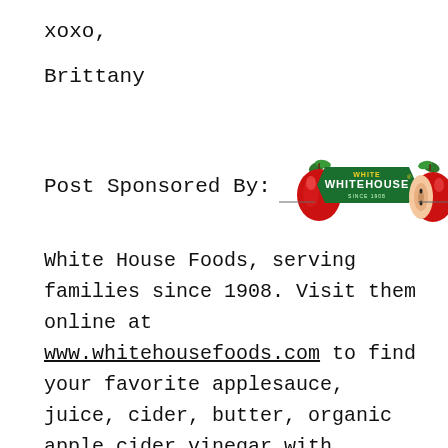xoxo,
Brittany
[Figure (logo): White House Foods logo with red apples and green banner reading WHITE HOUSE]
White House Foods, serving families since 1908. Visit them online at www.whitehousefoods.com to find your favorite applesauce, juice, cider, butter, organic apple cider vinegar with mother, and much more! Proudly growing their own apples, here in the